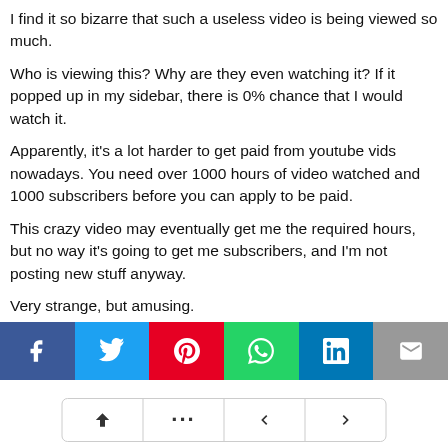I find it so bizarre that such a useless video is being viewed so much.
Who is viewing this? Why are they even watching it? If it popped up in my sidebar, there is 0% chance that I would watch it.
Apparently, it's a lot harder to get paid from youtube vids nowadays. You need over 1000 hours of video watched and 1000 subscribers before you can apply to be paid.
This crazy video may eventually get me the required hours, but no way it's going to get me subscribers, and I'm not posting new stuff anyway.
Very strange, but amusing.
Anyway. when have you had a similar experience or ever been a legitimate big deal?
[Figure (infographic): Social sharing buttons bar with icons for Facebook, Twitter, Pinterest, WhatsApp, LinkedIn, and Email]
[Figure (infographic): Navigation bar with up arrow, ellipsis, left arrow, and right arrow buttons]